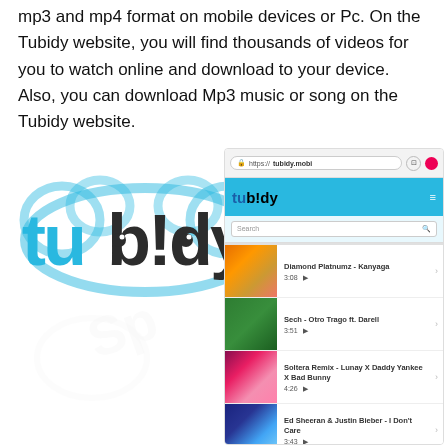mp3 and mp4 format on mobile devices or Pc. On the Tubidy website, you will find thousands of videos for you to watch online and download to your device. Also, you can download Mp3 music or song on the Tubidy website.
[Figure (screenshot): Tubidy logo on the left and a browser screenshot of the Tubidy website (https://tubidy.mobi) on the right, showing the search page and a list of songs: Diamond Platnumz - Kanyaga (3:08), Sech - Otro Trago ft. Darell (3:51), Soltera Remix - Lunay X Daddy Yankee X Bad Bunny (4:26), Ed Sheeran & Justin Bieber - I Don't Care (3:43). A faint watermark is visible in the background.]